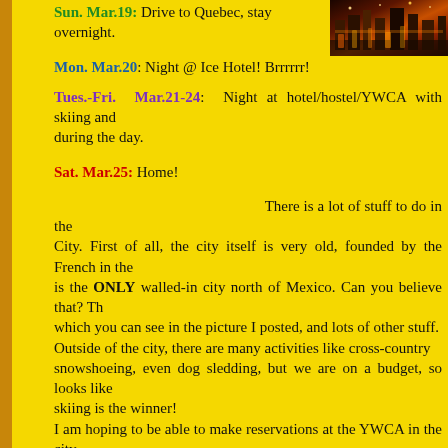[Figure (photo): Photo of a city street at night with lights, appears to be Quebec City]
Sun. Mar.19: Drive to Quebec, stay overnight.
Mon. Mar.20: Night @ Ice Hotel! Brrrrrr!
Tues.-Fri. Mar.21-24: Night at hotel/hostel/YWCA with skiing and during the day.
Sat. Mar.25: Home!
There is a lot of stuff to do in the City. First of all, the city itself is very old, founded by the French in th is the ONLY walled-in city north of Mexico. Can you believe that? T which you can see in the picture I posted, and lots of other stuff. Outside of the city, there are many activities like cross-coun snowshoeing, even dog sledding, but we are on a budget, so looks li skiing is the winner! I am hoping to be able to make reservations at the YWCA in the cit rooms, each decorated uniquely. Check it out! Other hotels/motels are running at the cheapest $60/night. The YW $45/night. Well, there are also hostels, but they are not so cheap as e find hotels for the same price! The second pic here is the entrance the the Ice Hotel we will be st night. I can't wait! Looks like this mini vacation for spring break will b
Posted by Jenn at 12:36 PM 2 comments